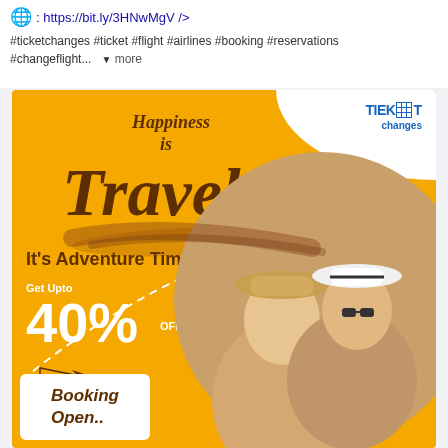: https://bit.ly/3HNwMgV />
#ticketchanges #ticket #flight #airlines #booking #reservations #changeflight... ▼ more
[Figure (infographic): Travel advertisement banner for TicketChanges. Yellow background with text 'Happiness is Travel - It's Adventure Time! Get Upto 40% OFF'. Shows two travelers (woman and man with hats). Logo 'TIEK IT changes' in top right. 'Booking Open..' in white box bottom left. Dashed curved line across the banner.]